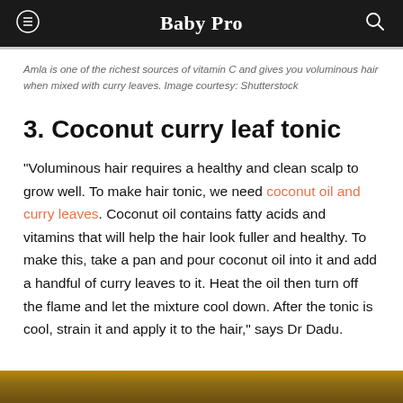Baby Pro
Amla is one of the richest sources of vitamin C and gives you voluminous hair when mixed with curry leaves. Image courtesy: Shutterstock
3. Coconut curry leaf tonic
“Voluminous hair requires a healthy and clean scalp to grow well. To make hair tonic, we need coconut oil and curry leaves. Coconut oil contains fatty acids and vitamins that will help the hair look fuller and healthy. To make this, take a pan and pour coconut oil into it and add a handful of curry leaves to it. Heat the oil then turn off the flame and let the mixture cool down. After the tonic is cool, strain it and apply it to the hair,” says Dr Dadu.
[Figure (photo): Bottom portion of a photo, likely showing hair or natural ingredients, warm brown tones]